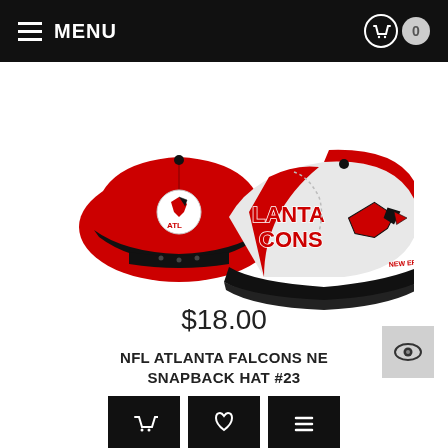MENU   0
[Figure (photo): Two Atlanta Falcons snapback hats shown from the back and front. Red caps with black brim, white panel on front with 'ATLANTA FALCONS' text and Falcons logo. New Era logo visible. Eye/quickview button overlay in bottom right corner.]
NFL ATLANTA FALCONS NE SNAPBACK HAT #23
$18.00
[Figure (infographic): Three black action buttons: shopping basket icon, heart/wishlist icon, and list/details icon]